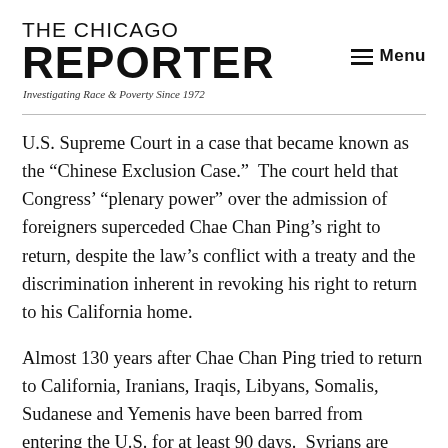THE CHICAGO REPORTER
Investigating Race & Poverty Since 1972
U.S. Supreme Court in a case that became known as the “Chinese Exclusion Case.”  The court held that Congress’ “plenary power” over the admission of foreigners superceded Chae Chan Ping’s right to return, despite the law’s conflict with a treaty and the discrimination inherent in revoking his right to return to his California home.
Almost 130 years after Chae Chan Ping tried to return to California, Iranians, Iraqis, Libyans, Somalis, Sudanese and Yemenis have been barred from entering the U.S. for at least 90 days.  Syrians are barred